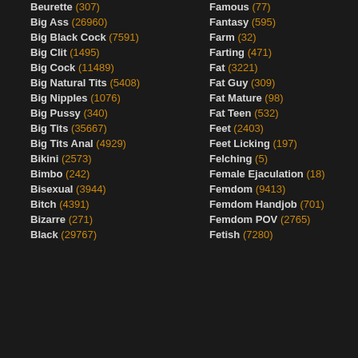Beurette (307)
Big Ass (26960)
Big Black Cock (7591)
Big Clit (1495)
Big Cock (11489)
Big Natural Tits (5408)
Big Nipples (1076)
Big Pussy (340)
Big Tits (35667)
Big Tits Anal (4929)
Bikini (2573)
Bimbo (242)
Bisexual (3944)
Bitch (4391)
Bizarre (271)
Black (29767)
Famous (77)
Fantasy (595)
Farm (32)
Farting (471)
Fat (3221)
Fat Guy (309)
Fat Mature (98)
Fat Teen (532)
Feet (2403)
Feet Licking (197)
Felching (5)
Female Ejaculation (18)
Femdom (9413)
Femdom Handjob (701)
Femdom POV (2765)
Fetish (7280)